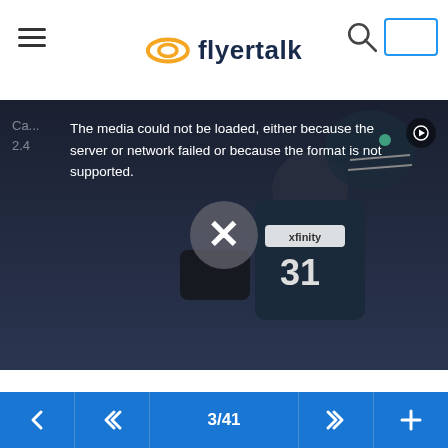flyertalk
[Figure (screenshot): Football player wearing jersey number 31 with Xfinity logo, dark background. Video player showing media error: 'The media could not be loaded, either because the server or network failed or because the format is not supported.' with an X dismiss button overlaid.]
Ca... 2.4
3/41